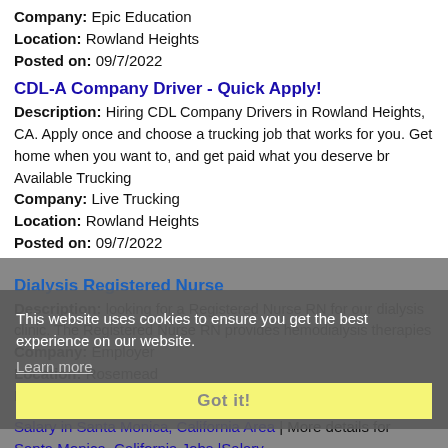Company: Epic Education
Location: Rowland Heights
Posted on: 09/7/2022
CDL-A Company Driver - Quick Apply!
Description: Hiring CDL Company Drivers in Rowland Heights, CA. Apply once and choose a trucking job that works for you. Get home when you want to, and get paid what you deserve br Available Trucking
Company: Live Trucking
Location: Rowland Heights
Posted on: 09/7/2022
Dialysis Registered Nurse
Description: looking for a Registered Nurse RN for our dialysis clinic. The Registered Nurse RN provides hemodialysis therapies
Company: Employer
Location: Rosemead
Posted on: 09/7/2022
This website uses cookies to ensure you get the best experience on our website.
Learn more
Got it!
Salary in Santa Monica, California Area | More details for Santa Monica, California Jobs |Salary